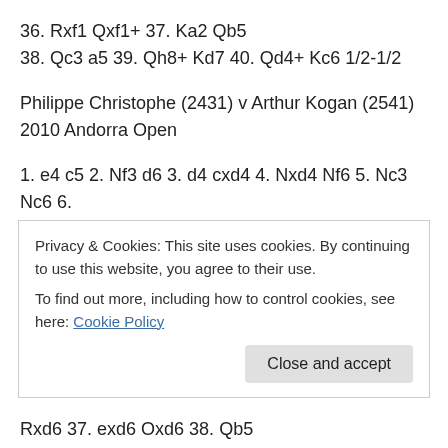36. Rxf1 Qxf1+ 37. Ka2 Qb5 38. Qc3 a5 39. Qh8+ Kd7 40. Qd4+ Kc6 1/2-1/2
Philippe Christophe (2431) v Arthur Kogan (2541) 2010 Andorra Open
1. e4 c5 2. Nf3 d6 3. d4 cxd4 4. Nxd4 Nf6 5. Nc3 Nc6 6. Bc4 e6 7. Be3 Be7 8. Qe2 Bd7 9. O-O-O Na5 10. Bb3 Rc8 11. f3 O-O 12. g4 Nxb3+ 13. axb3 Qa5 14. Kb1 Rfd8 15. g5 Nh5 16. f4 g6 17. f5 Bf8 18. Rhf1 Bg7 19. f6
Rxd6 37. exd6 Oxd6 38. Qb5